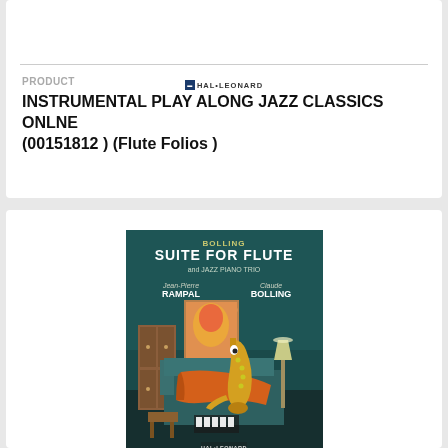[Figure (logo): Hal Leonard logo with small blue icon and text HAL•LEONARD]
PRODUCT
INSTRUMENTAL PLAY ALONG JAZZ CLASSICS ONLNE (00151812 ) (Flute Folios )
[Figure (photo): Book cover: Bolling Suite for Flute and Jazz Piano Trio, featuring Jean-Pierre Rampal and Claude Bolling. Dark teal room with a saxophone relaxing in a chair, an armchair, wardrobe, piano, and lamp. Hal Leonard publisher logo at bottom.]